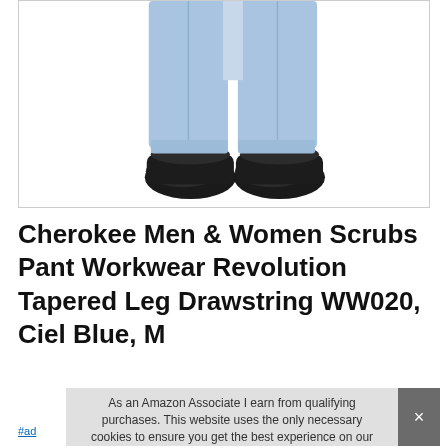[Figure (photo): Lower body of a person wearing light blue/ciel blue scrub pants with black athletic shoes, shown from approximately waist to feet on a white background.]
Cherokee Men & Women Scrubs Pant Workwear Revolution Tapered Leg Drawstring WW020, Ciel Blue, M
#ad
As an Amazon Associate I earn from qualifying purchases. This website uses the only necessary cookies to ensure you get the best experience on our website. More information